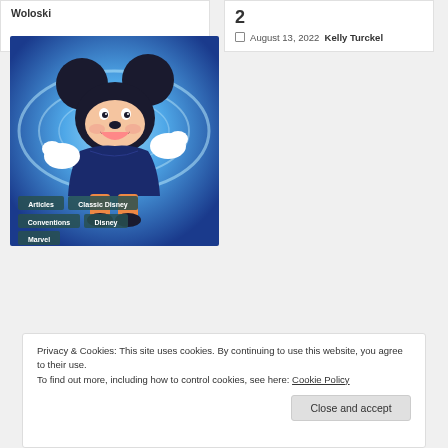Woloski
2
August 13, 2022  Kelly Turckel
[Figure (illustration): Mickey Mouse illustrated in a blue glowing cosmic style, arms outstretched, with category tags overlaid at bottom: Articles, Classic Disney, Conventions, Disney, Marvel]
Privacy & Cookies: This site uses cookies. By continuing to use this website, you agree to their use.
To find out more, including how to control cookies, see here: Cookie Policy
Close and accept